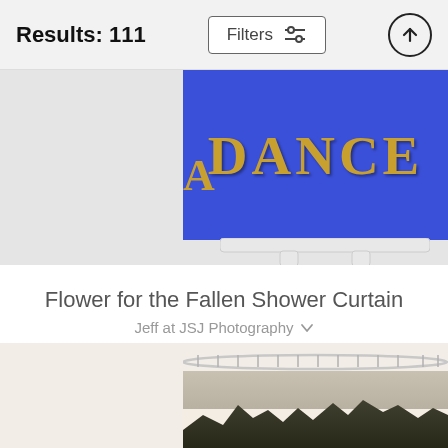Results: 111
[Figure (photo): Partial view of a blue wooden sign/shelf with gold letters showing 'DANCE', mounted on white wooden stand legs, on a light gray background. Only the bottom portion of the product is visible.]
Flower for the Fallen Shower Curtain
Jeff at JSJ Photography
$70
$56
[Figure (photo): Bottom portion of a shower curtain on a curved rod showing a dark landscape silhouette (trees, buildings) against a pale sky.]